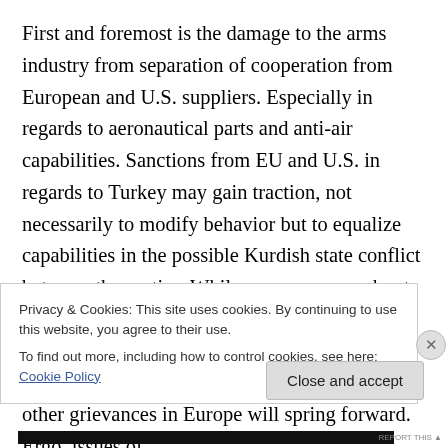First and foremost is the damage to the arms industry from separation of cooperation from European and U.S. suppliers. Especially in regards to aeronautical parts and anti-air capabilities. Sanctions from EU and U.S. in regards to Turkey may gain traction, not necessarily to modify behavior but to equalize capabilities in the possible Kurdish state conflict between the parties. While one can argue about the possibility of sanctions not being sanctioned by the UN, in reality this is a moot point. The problem is once things spiral into this direction other grievances in Europe will spring forward. Ergo, issues of
Privacy & Cookies: This site uses cookies. By continuing to use this website, you agree to their use.
To find out more, including how to control cookies, see here: Cookie Policy
Close and accept